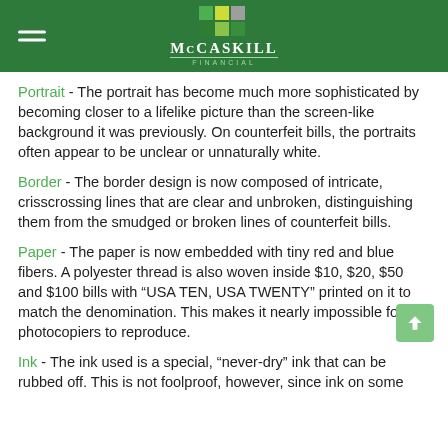McCaskill Financial
Portrait - The portrait has become much more sophisticated by becoming closer to a lifelike picture than the screen-like background it was previously. On counterfeit bills, the portraits often appear to be unclear or unnaturally white.
Border - The border design is now composed of intricate, crisscrossing lines that are clear and unbroken, distinguishing them from the smudged or broken lines of counterfeit bills.
Paper - The paper is now embedded with tiny red and blue fibers. A polyester thread is also woven inside $10, $20, $50 and $100 bills with “USA TEN, USA TWENTY” printed on it to match the denomination. This makes it nearly impossible for photocopiers to reproduce.
Ink - The ink used is a special, “never-dry” ink that can be rubbed off. This is not foolproof, however, since ink on some